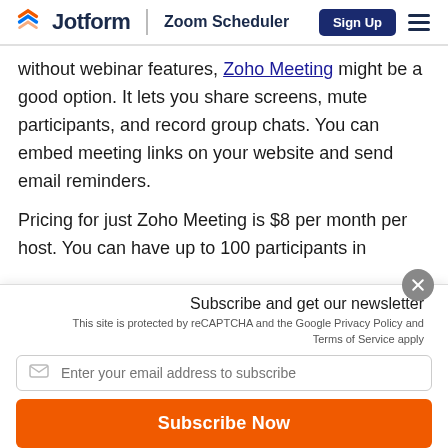Jotform | Zoom Scheduler
without webinar features, Zoho Meeting might be a good option. It lets you share screens, mute participants, and record group chats. You can embed meeting links on your website and send email reminders.
Pricing for just Zoho Meeting is $8 per month per host. You can have up to 100 participants in
Subscribe and get our newsletter
This site is protected by reCAPTCHA and the Google Privacy Policy and Terms of Service apply
Enter your email address to subscribe
Subscribe Now